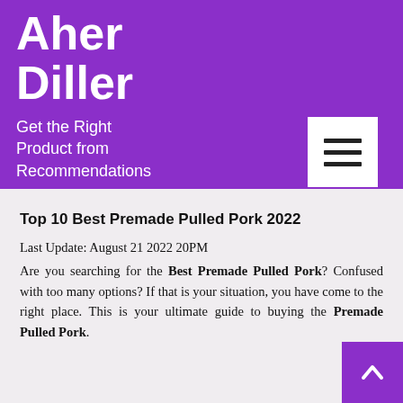Aher Diller
Get the Right Product from Recommendations
Top 10 Best Premade Pulled Pork 2022
Last Update: August 21 2022 20PM
Are you searching for the Best Premade Pulled Pork? Confused with too many options? If that is your situation, you have come to the right place. This is your ultimate guide to buying the Premade Pulled Pork.